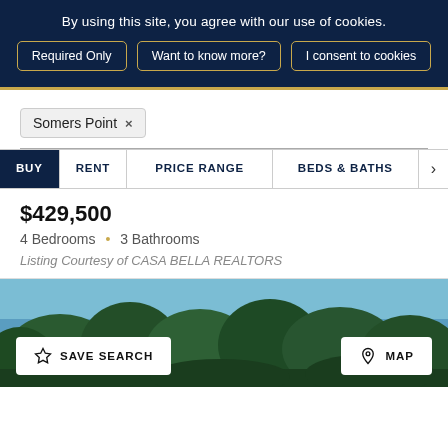By using this site, you agree with our use of cookies.
Required Only | Want to know more? | I consent to cookies
Somers Point ×
BUY  RENT  PRICE RANGE  BEDS & BATHS
$429,500
4 Bedrooms • 3 Bathrooms
Listing Courtesy of CASA BELLA REALTORS
[Figure (photo): Outdoor photo showing trees and blue sky visible at the bottom of the page]
SAVE SEARCH  MAP